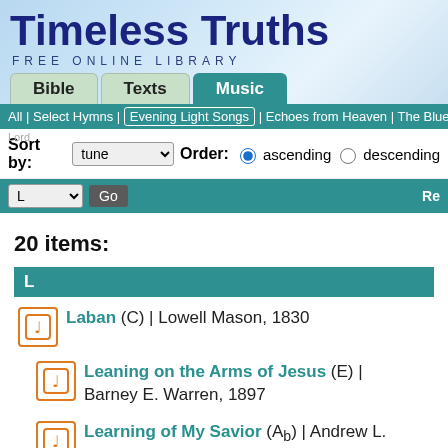Timeless Truths
FREE ONLINE LIBRARY
Bible | Texts | Music
All | Select Hymns | Evening Light Songs | Echoes from Heaven | The Blue Bo
Sort by: tune  Order: ascending  descending
L  Go  Re
20 items:
L
Laban (C) | Lowell Mason, 1830
Leaning on the Arms of Jesus (E) | Barney E. Warren, 1897
Learning of My Savior (Ab) | Andrew L. Byers, 1893